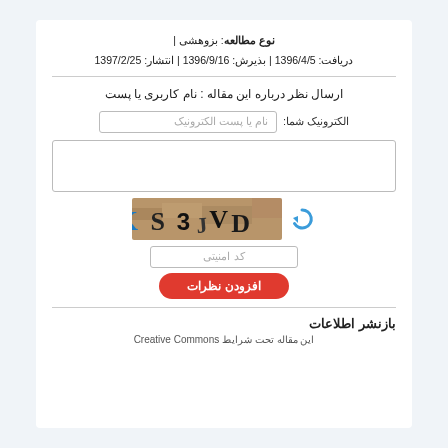نوع مطالعه: بزوهشی |
دریافت: 1396/4/5 | بذیرش: 1396/9/16 | انتشار: 1397/2/25
ارسال نظر درباره این مقاله : نام کاربری یا پست
الکترونیک شما:  نام یا پست الکترونیک
[Figure (screenshot): CAPTCHA image showing KS3JVD characters on a textured background, with a refresh icon to the left]
کد امنیتی
افزودن نظرات
بازنشر اطلاعات
این مقاله تحت شرایط Creative Commons